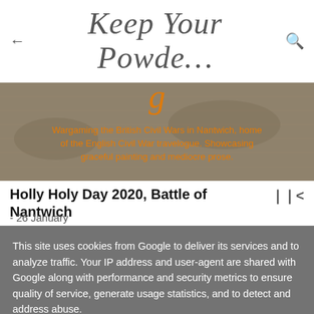← Keep Your Powde… 🔍
[Figure (photo): Sepia-toned historical battle/map background image with orange overlay text: 'Wargaming the British Civil Wars in Nantwich, home of the English Civil War travelogue. Showcasing graceful painting and mediocre prose.']
Holly Holy Day 2020, Battle of Nantwich
- 26 January
This site uses cookies from Google to deliver its services and to analyze traffic. Your IP address and user-agent are shared with Google along with performance and security metrics to ensure quality of service, generate usage statistics, and to detect and address abuse.
LEARN MORE   OK